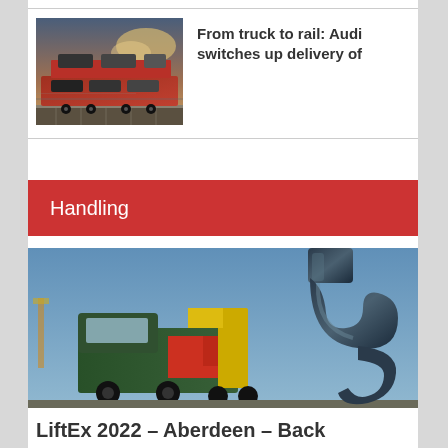[Figure (photo): A car transport truck on rail tracks with vehicles loaded, dramatic sky background]
From truck to rail: Audi switches up delivery of
Handling
[Figure (photo): A large metal crane hook in foreground with a heavy-duty colorful truck in background]
LiftEx 2022 – Aberdeen – Back